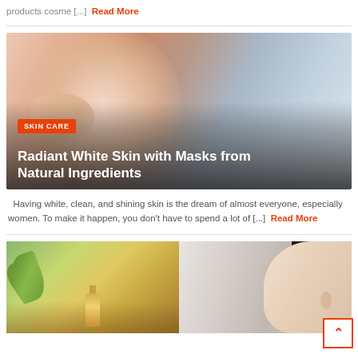products cosme [...] Read More
[Figure (photo): Woman touching her face with both hands, skin care article image with 'SKIN CARE' badge and title overlay]
Radiant White Skin with Masks from Natural Ingredients
Having white, clean, and shining skin is the dream of almost everyone, especially women. To make it happen, you don't have to spend a lot of [...] Read More
[Figure (photo): Two side-by-side images: left shows olive oil bottle with leaves, right shows side profile of a woman's face]